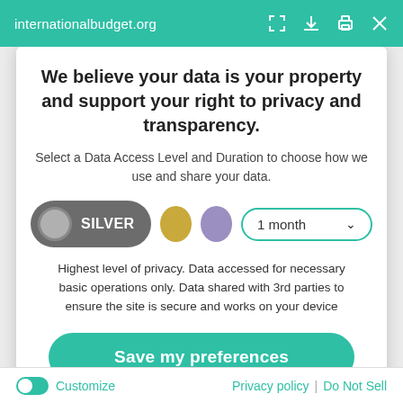internationalbudget.org
We believe your data is your property and support your right to privacy and transparency.
Select a Data Access Level and Duration to choose how we use and share your data.
[Figure (infographic): Privacy level selector with Silver pill button selected, gold circle, purple circle, and a 1 month dropdown]
Highest level of privacy. Data accessed for necessary basic operations only. Data shared with 3rd parties to ensure the site is secure and works on your device
Save my preferences
Customize | Privacy policy | Do Not Sell